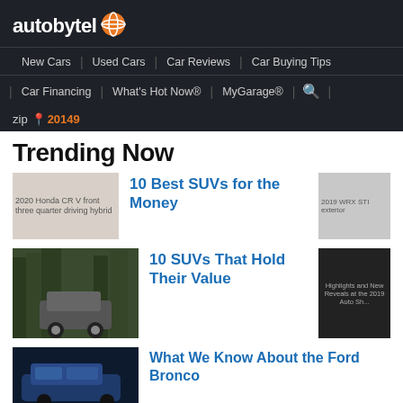autobytel
New Cars | Used Cars | Car Reviews | Car Buying Tips
Car Financing | What's Hot Now® | MyGarage® | [search icon]
zip 📍 20149
Trending Now
[Figure (photo): 2020 Honda CR V front three quarter driving hybrid]
10 Best SUVs for the Money
[Figure (photo): Jeep Wrangler in forest setting]
10 SUVs That Hold Their Value
[Figure (photo): Blue vehicle at night]
What We Know About the Ford Bronco